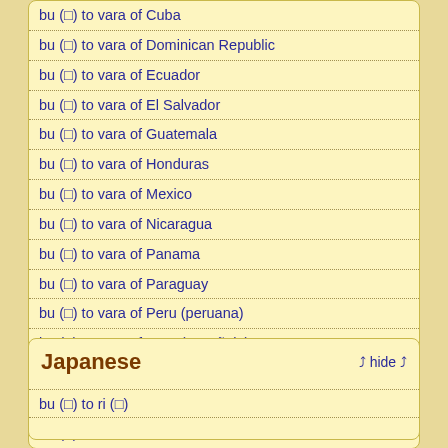bu (□) to vara of Cuba
bu (□) to vara of Dominican Republic
bu (□) to vara of Ecuador
bu (□) to vara of El Salvador
bu (□) to vara of Guatemala
bu (□) to vara of Honduras
bu (□) to vara of Mexico
bu (□) to vara of Nicaragua
bu (□) to vara of Panama
bu (□) to vara of Paraguay
bu (□) to vara of Peru (peruana)
bu (□) to vara of Peru (española)
bu (□) to vara of Uruguay
bu (□) to vara of São Tomé and Principe
bu (□) to vara of Venezuela
Japanese
bu (□) to ri (□)